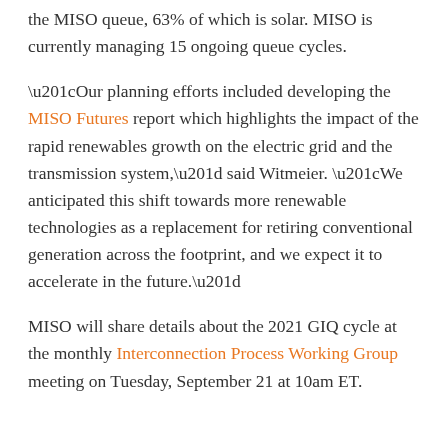the MISO queue, 63% of which is solar. MISO is currently managing 15 ongoing queue cycles.
“Our planning efforts included developing the MISO Futures report which highlights the impact of the rapid renewables growth on the electric grid and the transmission system,” said Witmeier. “We anticipated this shift towards more renewable technologies as a replacement for retiring conventional generation across the footprint, and we expect it to accelerate in the future.”
MISO will share details about the 2021 GIQ cycle at the monthly Interconnection Process Working Group meeting on Tuesday, September 21 at 10am ET.